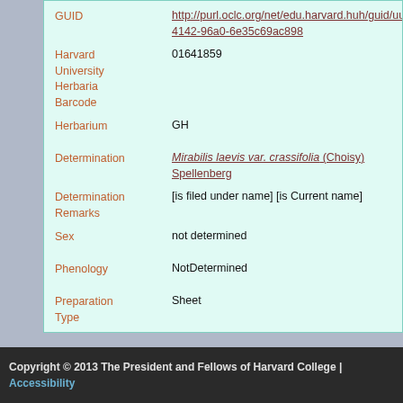| Field | Value |
| --- | --- |
| GUID | http://purl.oclc.org/net/edu.harvard.huh/guid/uuid/dd8b3c9c-4142-96a0-6e35c69ac898 |
| Harvard University Herbaria Barcode | 01641859 |
| Herbarium | GH |
| Determination | Mirabilis laevis var. crassifolia (Choisy) Spellenberg |
| Determination Remarks | [is filed under name] [is Current name] |
| Sex | not determined |
| Phenology | NotDetermined |
| Preparation Type | Sheet |
| Preparation Method | Pressed |
Copyright © 2013 The President and Fellows of Harvard College | Accessibility